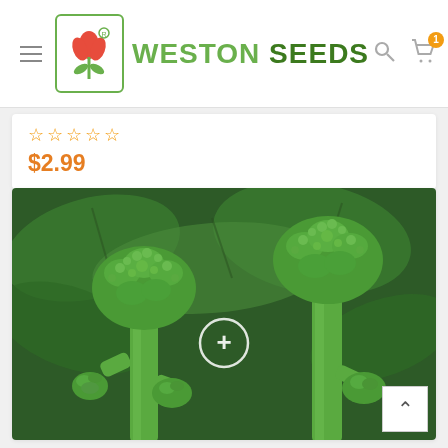[Figure (screenshot): Weston Seeds website header with logo (red tulip icon in green-bordered box), brand name 'WESTON SEEDS' in green, hamburger menu on left, search and shopping cart icons on right with badge showing 1 item]
☆☆☆☆☆
$2.99
[Figure (photo): Close-up photo of broccoli raab/broccolini plants with multiple stalks and florets against leafy green background, with a circular zoom (+) icon overlaid in the center]